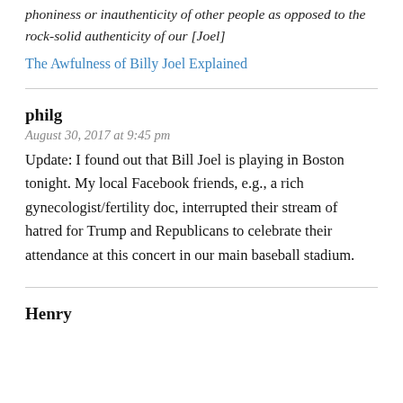phoniness or inauthenticity of other people as opposed to the rock-solid authenticity of our [Joel]
The Awfulness of Billy Joel Explained
philg
August 30, 2017 at 9:45 pm
Update: I found out that Bill Joel is playing in Boston tonight. My local Facebook friends, e.g., a rich gynecologist/fertility doc, interrupted their stream of hatred for Trump and Republicans to celebrate their attendance at this concert in our main baseball stadium.
Henry